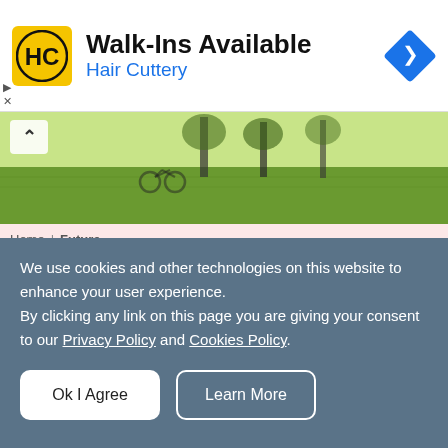[Figure (logo): Hair Cuttery advertisement banner with HC logo, text 'Walk-Ins Available' and 'Hair Cuttery', and a blue diamond navigation icon]
[Figure (photo): Outdoor garden or park scene with green grass and trees, a chevron/up-arrow button overlay on left]
Home | Future
VIRGO Yearly Horoscope 2022:
We use cookies and other technologies on this website to enhance your user experience. By clicking any link on this page you are giving your consent to our Privacy Policy and Cookies Policy.
Ok I Agree   Learn More